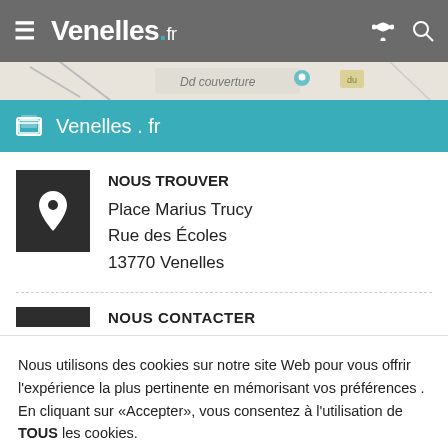Venelles.fr
[Figure (screenshot): Map strip showing partial map with text 'Dd couverture' and map elements]
Venelles.fr
NOUS TROUVER
Place Marius Trucy
Rue des Écoles
13770 Venelles
NOUS CONTACTER
Nous utilisons des cookies sur notre site Web pour vous offrir l'expérience la plus pertinente en mémorisant vos préférences . En cliquant sur «Accepter», vous consentez à l'utilisation de TOUS les cookies.
Reglages Cookies  ACCEPTER